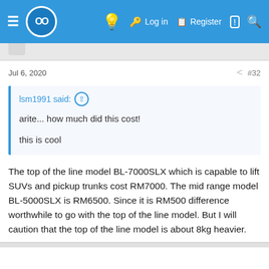≡ OO  [bulb icon] [key icon] Log in [register icon] Register [comment icon] [search icon]
Jul 6, 2020   < #32
lsm1991 said: ↑

arite... how much did this cost!

this is cool
The top of the line model BL-7000SLX which is capable to lift SUVs and pickup trunks cost RM7000. The mid range model BL-5000SLX is RM6500. Since it is RM500 difference worthwhile to go with the top of the line model. But I will caution that the top of the line model is about 8kg heavier.